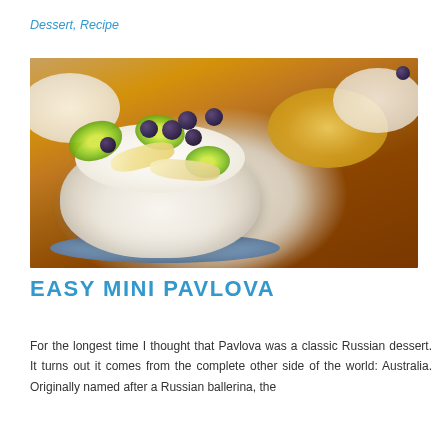Dessert, Recipe
[Figure (photo): A mini pavlova topped with kiwi slices, banana slices, and blueberries on a blue plate, with other pavlovas visible in the background on an orange surface.]
EASY MINI PAVLOVA
For the longest time I thought that Pavlova was a classic Russian dessert. It turns out it comes from the complete other side of the world: Australia. Originally named after a Russian ballerina, the